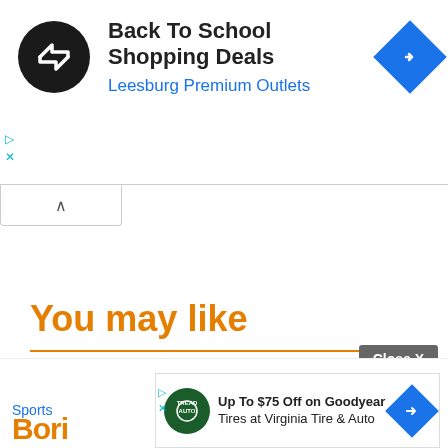[Figure (screenshot): Advertisement banner for Back To School Shopping Deals at Leesburg Premium Outlets, with circular logo and blue navigation diamond icon]
You may like
Boris Becker: Nasty Schöneberger saying at ESC hits a sore spot
[Figure (screenshot): Bottom advertisement for Up To $75 Off on Goodyear Tires at Virginia Tire & Auto, with Goodyear logo and navigation icon]
Close X
Sports
Bori...er
0:27 AM